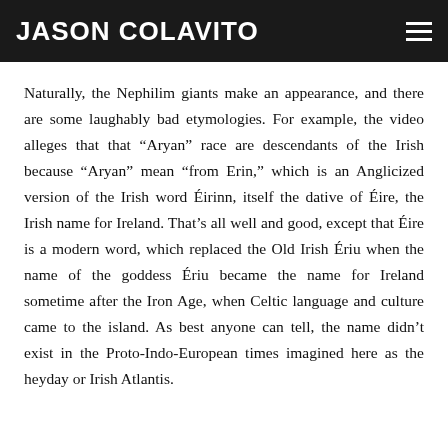JASON COLAVITO
Naturally, the Nephilim giants make an appearance, and there are some laughably bad etymologies. For example, the video alleges that that “Aryan” race are descendants of the Irish because “Aryan” mean “from Erin,” which is an Anglicized version of the Irish word Éirinn, itself the dative of Éire, the Irish name for Ireland. That’s all well and good, except that Éire is a modern word, which replaced the Old Irish Ériu when the name of the goddess Ériu became the name for Ireland sometime after the Iron Age, when Celtic language and culture came to the island. As best anyone can tell, the name didn’t exist in the Proto-Indo-European times imagined here as the heyday or Irish Atlantis.